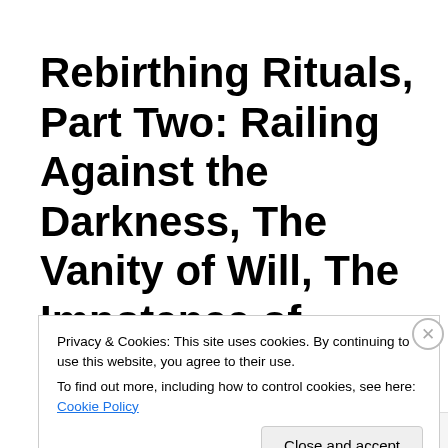Rebirthing Rituals, Part Two: Railing Against the Darkness, The Vanity of Will, The Impotence of Reason, and
Privacy & Cookies: This site uses cookies. By continuing to use this website, you agree to their use.
To find out more, including how to control cookies, see here: Cookie Policy